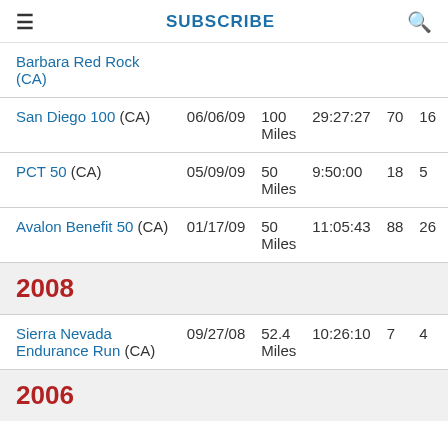SUBSCRIBE
| Race | Date | Distance | Time | Place | AG |
| --- | --- | --- | --- | --- | --- |
| Barbara Red Rock (CA) |  |  |  |  |  |
| San Diego 100 (CA) | 06/06/09 | 100 Miles | 29:27:27 | 70 | 16 |
| PCT 50 (CA) | 05/09/09 | 50 Miles | 9:50:00 | 18 | 5 |
| Avalon Benefit 50 (CA) | 01/17/09 | 50 Miles | 11:05:43 | 88 | 26 |
| 2008 (year header) |  |  |  |  |  |
| Sierra Nevada Endurance Run (CA) | 09/27/08 | 52.4 Miles | 10:26:10 | 7 | 4 |
| 2006 (year header) |  |  |  |  |  |